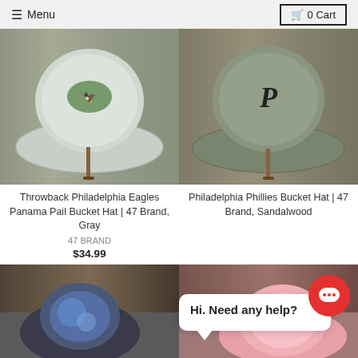≡ Menu | 🛒 0 Cart
[Figure (photo): Throwback Philadelphia Eagles bucket hat in gray on a display stand against a wood background]
Throwback Philadelphia Eagles Panama Pail Bucket Hat | 47 Brand, Gray
47 BRAND
$34.99
[Figure (photo): Philadelphia Phillies olive/sandalwood bucket hat with P logo on a display stand against a wood background]
Philadelphia Phillies Bucket Hat | 47 Brand, Sandalwood
Hi. Need any help?
[Figure (photo): Bottom left partial product image showing a dark hat with blue tie-dye pattern]
[Figure (photo): Bottom right partial product image showing a pink hat]